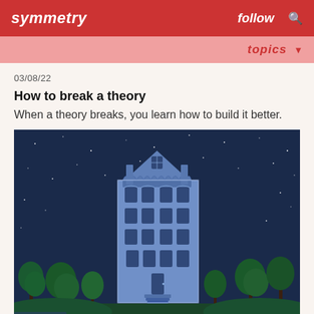symmetry   follow   🔍
topics ▼
03/08/22
How to break a theory
When a theory breaks, you learn how to build it better.
[Figure (illustration): Illustration of a tall multi-story blue building with Victorian-style architecture against a dark starry night sky, with green trees on each side at the bottom.]